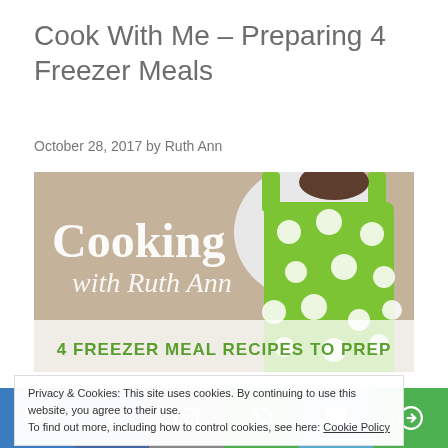Cook With Me – Preparing 4 Freezer Meals
October 28, 2017 by Ruth Ann
[Figure (photo): Banner image showing a person wearing a green polka-dot apron with text overlay 'Cooking with Ruth Ann' and '4 Freezer Meal Recipes to Prep']
Privacy & Cookies: This site uses cookies. By continuing to use this website, you agree to their use.
To find out more, including how to control cookies, see here: Cookie Policy
Social share bar with Twitter, Facebook, Email, WhatsApp, SMS, and More buttons